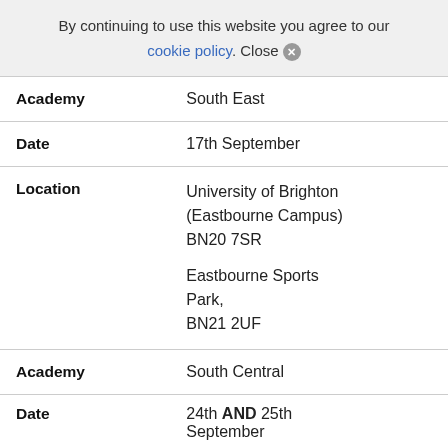By continuing to use this website you agree to our cookie policy. Close ✕
| Academy | South East |
| Date | 17th September |
| Location | University of Brighton (Eastbourne Campus) BN20 7SR

Eastbourne Sports Park, BN21 2UF |
| Academy | South Central |
| Date | 24th AND 25th September |